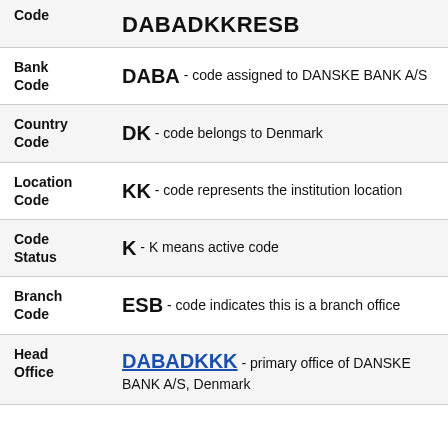| Label | Value |
| --- | --- |
| Code | DABADKKRESB |
| Bank Code | DABA - code assigned to DANSKE BANK A/S |
| Country Code | DK - code belongs to Denmark |
| Location Code | KK - code represents the institution location |
| Code Status | K - K means active code |
| Branch Code | ESB - code indicates this is a branch office |
| Head Office | DABADKKK - primary office of DANSKE BANK A/S, Denmark |